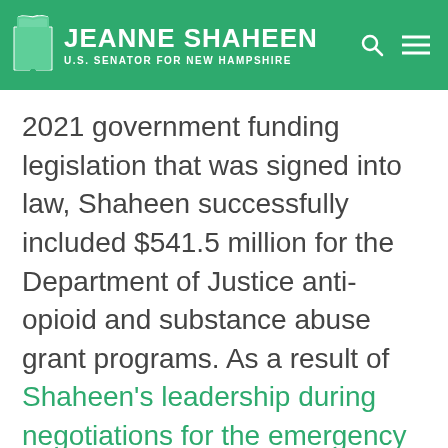JEANNE SHAHEEN — U.S. SENATOR FOR NEW HAMPSHIRE
2021 government funding legislation that was signed into law, Shaheen successfully included $541.5 million for the Department of Justice anti-opioid and substance abuse grant programs. As a result of Shaheen's leadership during negotiations for the emergency COVID relief signed into law last month, $4.25